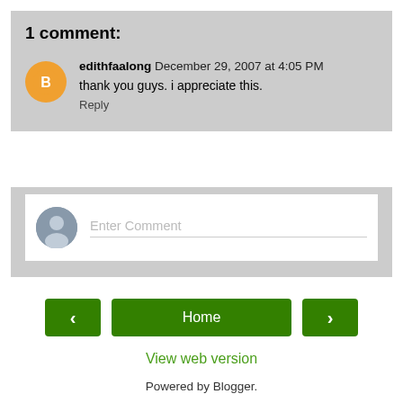1 comment:
edithfaalong December 29, 2007 at 4:05 PM
thank you guys. i appreciate this.
Reply
Enter Comment
‹
Home
›
View web version
Powered by Blogger.